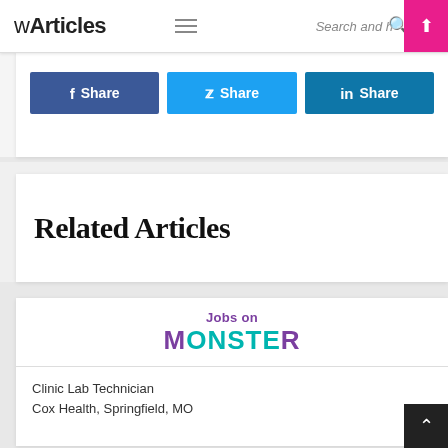wArticles
[Figure (screenshot): Social share buttons row: Facebook Share (blue), Twitter Share (light blue), LinkedIn Share (teal)]
Related Articles
[Figure (logo): Jobs on Monster logo — purple and teal text]
Clinic Lab Technician
Cox Health, Springfield, MO